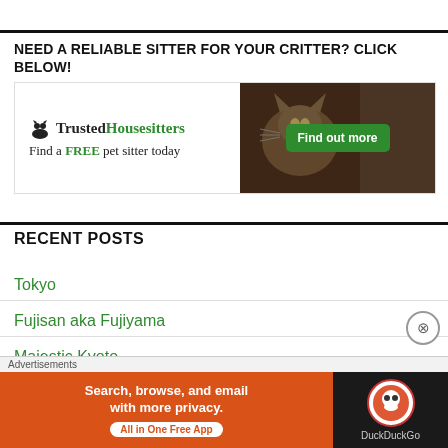NEED A RELIABLE SITTER FOR YOUR CRITTER? CLICK BELOW!
[Figure (illustration): TrustedHousesitters advertisement banner: logo with dog silhouette, text 'TrustedHousesitters Find a FREE pet sitter today', photo of a cat, green button 'Find out more']
RECENT POSTS
Tokyo
Fujisan aka Fujiyama
Majestic Kyoto
[Figure (screenshot): DuckDuckGo advertisement: orange panel 'Search, browse, and email with more privacy. All in One Free App', dark panel with DuckDuckGo logo]